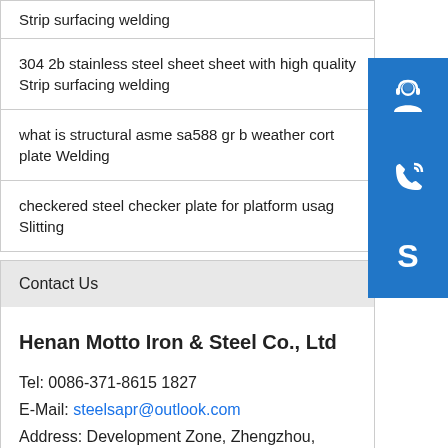Strip surfacing welding
304 2b stainless steel sheet sheet with high quality Strip surfacing welding
what is structural asme sa588 gr b weather corten plate Welding
checkered steel checker plate for platform usage Slitting
Contact Us
Henan Motto Iron & Steel Co., Ltd
Tel: 0086-371-8615 1827
E-Mail: steelsapr@outlook.com
Address: Development Zone, Zhengzhou, China